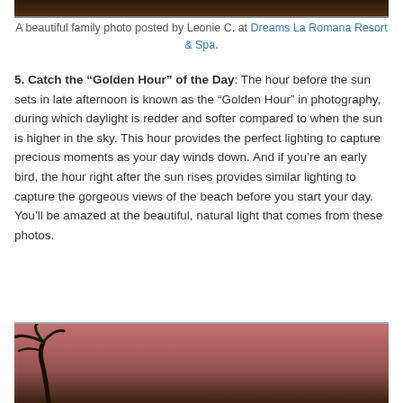[Figure (photo): Top portion of a family photo at a resort, dark warm-toned image]
A beautiful family photo posted by Leonie C. at Dreams La Romana Resort & Spa.
5. Catch the “Golden Hour” of the Day: The hour before the sun sets in late afternoon is known as the “Golden Hour” in photography, during which daylight is redder and softer compared to when the sun is higher in the sky. This hour provides the perfect lighting to capture precious moments as your day winds down. And if you’re an early bird, the hour right after the sun rises provides similar lighting to capture the gorgeous views of the beach before you start your day. You’ll be amazed at the beautiful, natural light that comes from these photos.
[Figure (photo): Golden hour beach photo showing pink and purple sky with palm tree silhouette on the left]